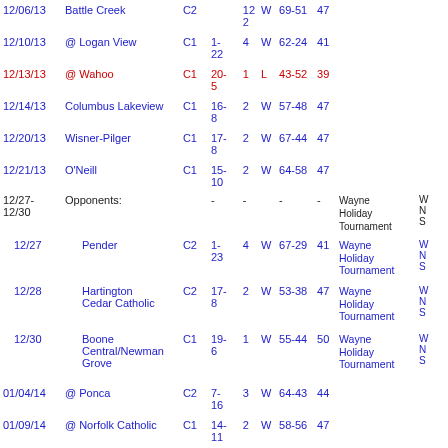| Date | Opponent | Class | Record | Q | W/L | Score | Pts | Tournament |
| --- | --- | --- | --- | --- | --- | --- | --- | --- |
| 12/06/13 | Battle Creek | C2 | 12 | 2 | W | 69-51 | 47 |  |
| 12/10/13 | @ Logan View | C1 | 1-22 | 4 | W | 62-24 | 41 |  |
| 12/13/13 | @ Wahoo | C1 | 20-5 | 1 | L | 43-52 | 39 |  |
| 12/14/13 | Columbus Lakeview | C1 | 16-8 | 2 | W | 57-48 | 47 |  |
| 12/20/13 | Wisner-Pilger | C1 | 17-8 | 2 | W | 67-44 | 47 |  |
| 12/21/13 | O'Neill | C1 | 15-10 | 2 | W | 64-58 | 47 |  |
| 12/27-12/30 | Opponents: |  | - | - | - | - |  | Wayne Holiday Tournament |
| 12/27 | Pender | C2 | 1-23 | 4 | W | 67-29 | 41 | Wayne Holiday Tournament |
| 12/28 | Hartington Cedar Catholic | C2 | 17-8 | 2 | W | 53-38 | 47 | Wayne Holiday Tournament |
| 12/30 | Boone Central/Newman Grove | C1 | 19-6 | 1 | W | 55-44 | 50 | Wayne Holiday Tournament |
| 01/04/14 | @ Ponca | C2 | 7-16 | 3 | W | 64-43 | 44 |  |
| 01/09/14 | @ Norfolk Catholic | C1 | 14-11 | 2 | W | 58-56 | 47 |  |
| 01/11/14 | @ Boone Central/Newman | C1 | 19-6 | 1 | W | 52-38 | 50 |  |